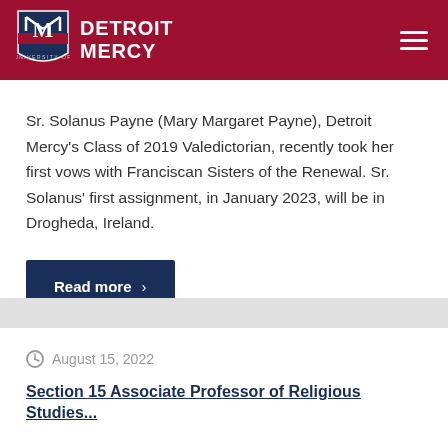University of Detroit Mercy
Sr. Solanus Payne (Mary Margaret Payne), Detroit Mercy's Class of 2019 Valedictorian, recently took her first vows with Franciscan Sisters of the Renewal. Sr. Solanus' first assignment, in January 2023, will be in Drogheda, Ireland.
Read more ›
August 15, 2022
Section 15 Associate Professor of Religious Studies...